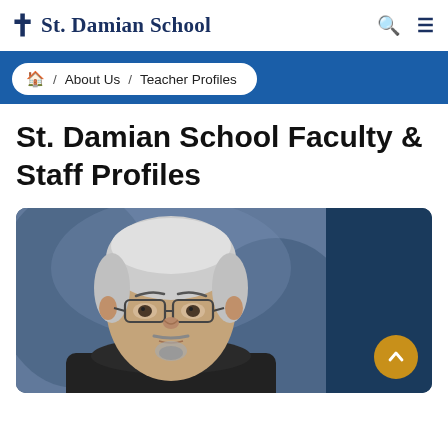St. Damian School
Home / About Us / Teacher Profiles
St. Damian School Faculty & Staff Profiles
[Figure (photo): Headshot of a middle-aged man with gray hair, glasses, goatee, wearing a dark jacket, against a blue background]